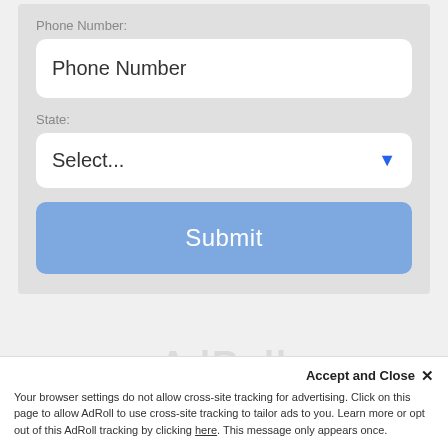Phone Number:
Phone Number
State:
Select...
Submit
Accept and Close ✕
Your browser settings do not allow cross-site tracking for advertising. Click on this page to allow AdRoll to use cross-site tracking to tailor ads to you. Learn more or opt out of this AdRoll tracking by clicking here. This message only appears once.